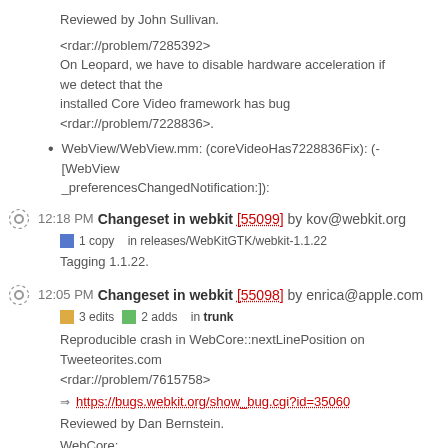Reviewed by John Sullivan.
<rdar://problem/7285392>
On Leopard, we have to disable hardware acceleration if we detect that the installed Core Video framework has bug <rdar://problem/7228836>.
WebView/WebView.mm: (coreVideoHas7228836Fix): (-[WebView _preferencesChangedNotification:]):
12:18 PM Changeset in webkit [55099] by kov@webkit.org
1 copy  in releases/WebKitGTK/webkit-1.1.22
Tagging 1.1.22.
12:05 PM Changeset in webkit [55098] by enrica@apple.com
3 edits  2 adds  in trunk
Reproducible crash in WebCore::nextLinePosition on Tweeteorites.com <rdar://problem/7615758>
https://bugs.webkit.org/show_bug.cgi?id=35060
Reviewed by Dan Bernstein.
WebCore:
Test: editing/selection/extend-byline-withfloat.html
editing/visible_units.cpp: